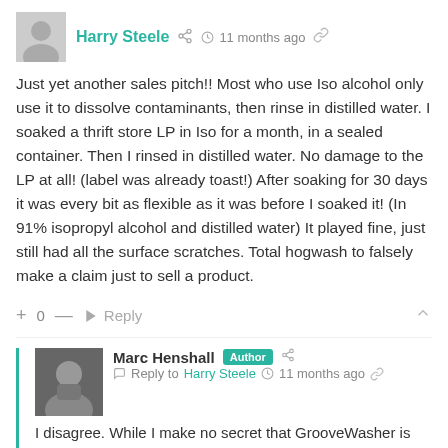Harry Steele · 11 months ago
Just yet another sales pitch!! Most who use Iso alcohol only use it to dissolve contaminants, then rinse in distilled water. I soaked a thrift store LP in Iso for a month, in a sealed container. Then I rinsed in distilled water. No damage to the LP at all! (label was already toast!) After soaking for 30 days it was every bit as flexible as it was before I soaked it! (In 91% isopropyl alcohol and distilled water) It played fine, just still had all the surface scratches. Total hogwash to falsely make a claim just to sell a product.
+ 0 — Reply
Marc Henshall Author · Reply to Harry Steele · 11 months ago
I disagree. While I make no secret that GrooveWasher is my preferred cleaning solution, the article was on...